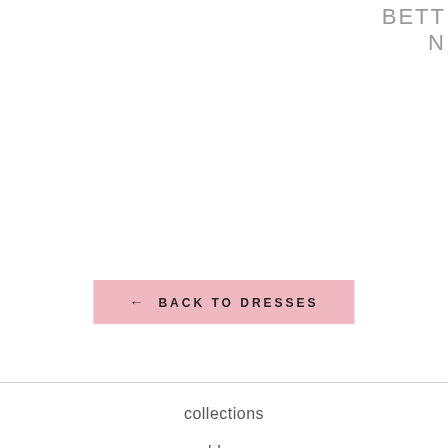BETT
← BACK TO DRESSES
collections
blog
sizing
shipping
returns
contact us
about us